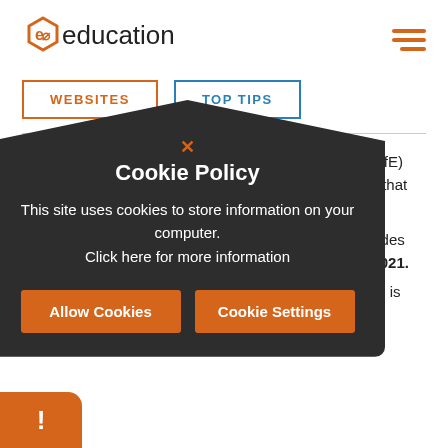[Figure (logo): e4education logo with orange hexagon icon and text]
WEBSITES
TOP TIPS
As part of the Ofsted and Department for Education (DfE) requirements, there is certain information and policies that schools must publish on their website.
These are updated on a regular basis, as Ofsted provides schools with the most up to date guidance. January 2021.
To make it as simple as possible to check your website is Ofsted and DfE compliant, we
[Figure (screenshot): Cookie Policy popup overlay on dark background with title 'Cookie Policy', body text 'This site uses cookies to store information on your computer. Click here for more information', and two buttons: 'Allow Cookies' and 'Cookie Settings']